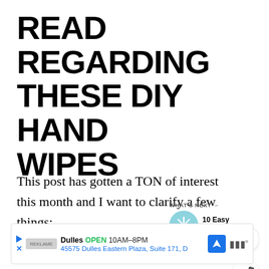READ REGARDING THESE DIY HAND WIPES
This post has gotten a TON of interest this month and I want to clarify a few things:
[Figure (screenshot): What's Next widget showing a circular thumbnail of snowflake/winter image with text '10 Easy Winter Care...' and label 'WHAT'S NEXT →']
[Figure (infographic): UI buttons: heart (like) button and share button as circular icons with shadow]
[Figure (screenshot): Advertisement bar showing Dulles store: OPEN 10AM-8PM, 45575 Dulles Eastern Plaza, Suite 171, D with navigation icon and speaker/volume icon]